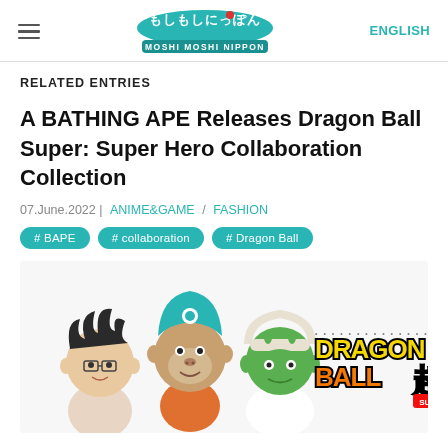Moshi Moshi Nippon | ENGLISH
RELATED ENTRIES
A BATHING APE Releases Dragon Ball Super: Super Hero Collaboration Collection
07.June.2022 | ANIME&GAME / FASHION
# BAPE
# collaboration
# Dragon Ball
[Figure (illustration): Cartoon chibi-style Dragon Ball Super characters alongside the Dragon Ball Super: Super Hero logo and A Bathing Ape branding]